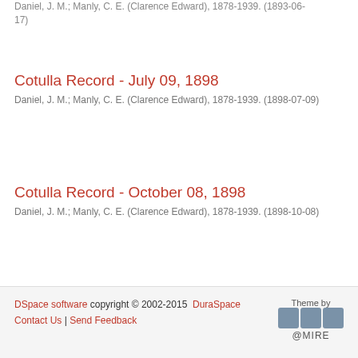Daniel, J. M.; Manly, C. E. (Clarence Edward), 1878-1939. (1893-06-17)
Cotulla Record - July 09, 1898
Daniel, J. M.; Manly, C. E. (Clarence Edward), 1878-1939. (1898-07-09)
Cotulla Record - October 08, 1898
Daniel, J. M.; Manly, C. E. (Clarence Edward), 1878-1939. (1898-10-08)
← 1 . . . 57 →
DSpace software copyright © 2002-2015 DuraSpace Contact Us | Send Feedback Theme by @MIRE